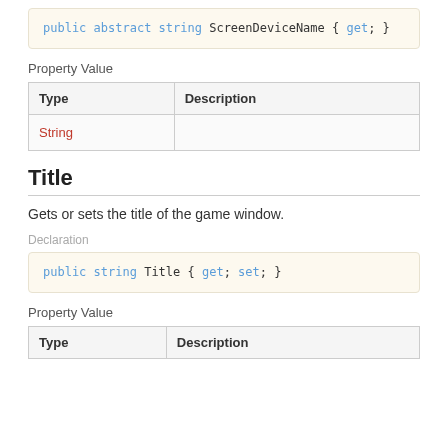Property Value
| Type | Description |
| --- | --- |
| String |  |
Title
Gets or sets the title of the game window.
Declaration
Property Value
| Type | Description |
| --- | --- |